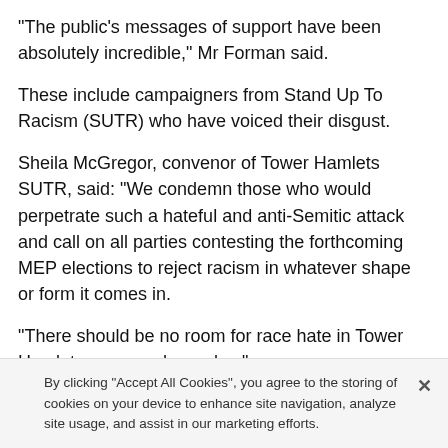"The public's messages of support have been absolutely incredible," Mr Forman said.
These include campaigners from Stand Up To Racism (SUTR) who have voiced their disgust.
Sheila McGregor, convenor of Tower Hamlets SUTR, said: "We condemn those who would perpetrate such a hateful and anti-Semitic attack and call on all parties contesting the forthcoming MEP elections to reject racism in whatever shape or form it comes in.
"There should be no room for race hate in Tower Hamlets - or anywhere else."
There have been no arrests so far although police
By clicking "Accept All Cookies", you agree to the storing of cookies on your device to enhance site navigation, analyze site usage, and assist in our marketing efforts.